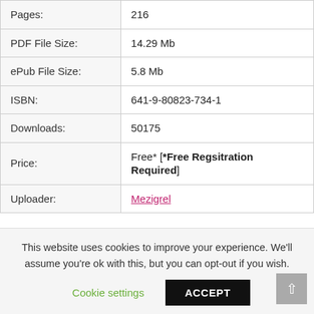| Pages: | 216 |
| PDF File Size: | 14.29 Mb |
| ePub File Size: | 5.8 Mb |
| ISBN: | 641-9-80823-734-1 |
| Downloads: | 50175 |
| Price: | Free* [*Free Regsitration Required] |
| Uploader: | Mezigrel |
This website uses cookies to improve your experience. We'll assume you're ok with this, but you can opt-out if you wish.